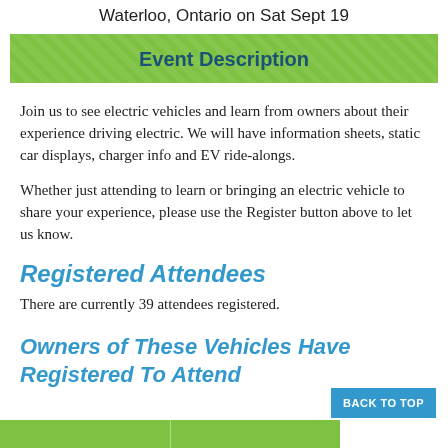Waterloo, Ontario on Sat Sept 19
Event Description
Join us to see electric vehicles and learn from owners about their experience driving electric. We will have information sheets, static car displays, charger info and EV ride-alongs.
Whether just attending to learn or bringing an electric vehicle to share your experience, please use the Register button above to let us know.
Registered Attendees
There are currently 39 attendees registered.
Owners of These Vehicles Have Registered To Attend